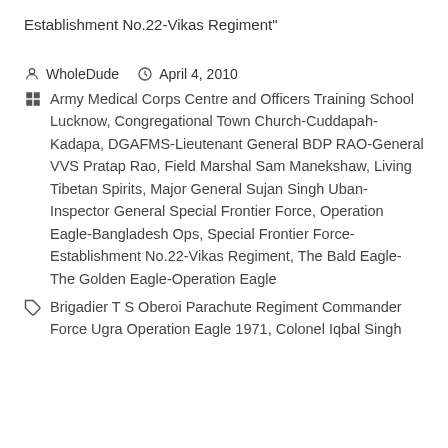Establishment No.22-Vikas Regiment"
WholeDude   April 4, 2010
Army Medical Corps Centre and Officers Training School Lucknow, Congregational Town Church-Cuddapah-Kadapa, DGAFMS-Lieutenant General BDP RAO-General VVS Pratap Rao, Field Marshal Sam Manekshaw, Living Tibetan Spirits, Major General Sujan Singh Uban-Inspector General Special Frontier Force, Operation Eagle-Bangladesh Ops, Special Frontier Force-Establishment No.22-Vikas Regiment, The Bald Eagle-The Golden Eagle-Operation Eagle
Brigadier T S Oberoi Parachute Regiment Commander Force Ugra Operation Eagle 1971, Colonel Iqbal Singh